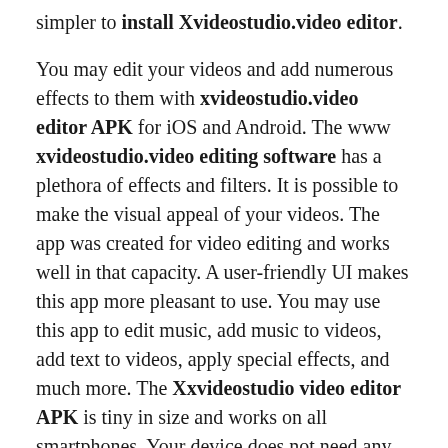simpler to install Xvideostudio.video editor.

You may edit your videos and add numerous effects to them with xvideostudio.video editor APK for iOS and Android. The www xvideostudio.video editing software has a plethora of effects and filters. It is possible to make the visual appeal of your videos. The app was created for video editing and works well in that capacity. A user-friendly UI makes this app more pleasant to use. You may use this app to edit music, add music to videos, add text to videos, apply special effects, and much more. The Xxvideostudio video editor APK is tiny in size and works on all smartphones. Your device does not need any extra configuration. You can accomplish a lot with this editor. The video may be compressed, altered, sound removed, trimmed, or slowed down.